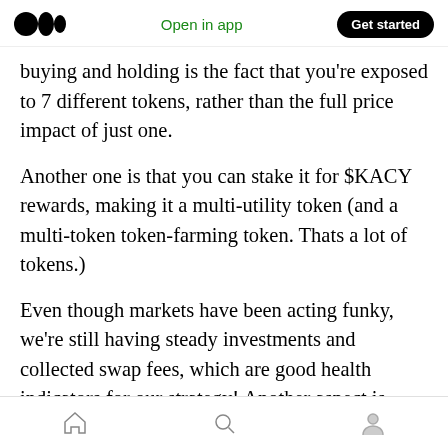Open in app | Get started
buying and holding is the fact that you're exposed to 7 different tokens, rather than the full price impact of just one.
Another one is that you can stake it for $KACY rewards, making it a multi-utility token (and a multi-token token-farming token. Thats a lot of tokens.)
Even though markets have been acting funky, we're still having steady investments and collected swap fees, which are good health indicators for our strategy! Another aspect is
Home | Search | Profile